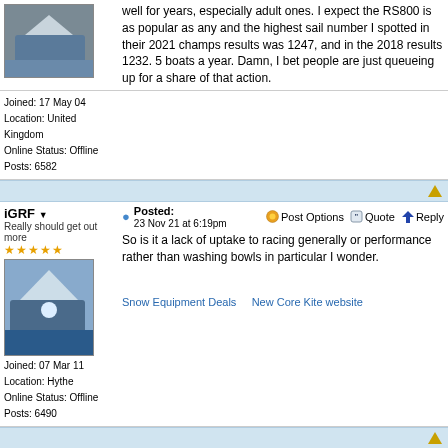well for years, especially adult ones. I expect the RS800 is as popular as any and the highest sail number I spotted in their 2021 champs results was 1247, and in the 2018 results 1232. 5 boats a year. Damn, I bet people are just queueing up for a share of that action.
Joined: 17 May 04
Location: United Kingdom
Online Status: Offline
Posts: 6582
iGRF
Really should get out more
Posted: 23 Nov 21 at 6:19pm
Post Options  Quote  Reply
So is it a lack of uptake to racing generally or performance rather than washing bowls in particular I wonder.
Joined: 07 Mar 11
Location: Hythe
Online Status: Offline
Posts: 6490
Snow Equipment Deals    New Core Kite website
Post Reply
Page  1  2  3  8  >
Forum Jump
-- Select Forum --
Forum Permissions